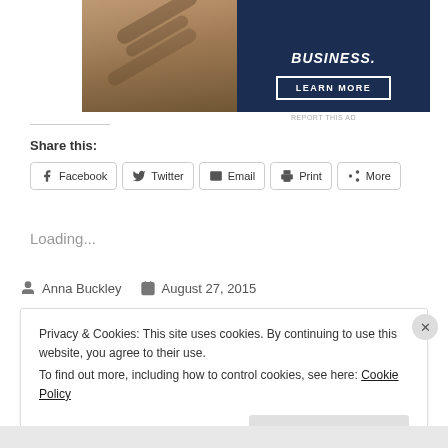[Figure (photo): Advertisement banner showing a person's hands and a dark navy panel with bold italic text 'BUSINESS.' and a 'LEARN MORE' button with white border]
REPORT THIS AD
Share this:
Facebook  Twitter  Email  Print  More
Loading...
Anna Buckley   August 27, 2015
Privacy & Cookies: This site uses cookies. By continuing to use this website, you agree to their use.
To find out more, including how to control cookies, see here: Cookie Policy
Close and accept